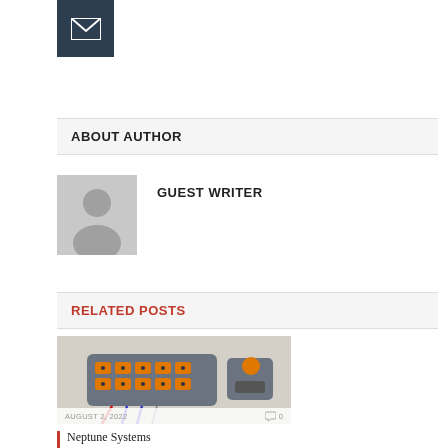[Figure (other): Dark navy/charcoal square icon with a white envelope/mail symbol centered inside]
ABOUT AUTHOR
[Figure (illustration): Generic grey avatar silhouette placeholder image for a person (head and shoulders)]
GUEST WRITER
RELATED POSTS
[Figure (photo): Photo of Neptune Systems aquarium controller hardware - a grey and orange multi-outlet power strip unit with probes and an external module]
AUGUST 2, 2022
0
Neptune Systems